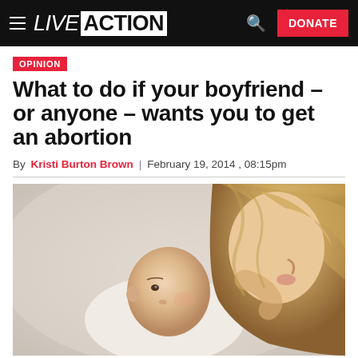LIVE ACTION — DONATE
OPINION
What to do if your boyfriend – or anyone – wants you to get an abortion
By Kristi Burton Brown | February 19, 2014 , 08:15pm
[Figure (photo): A woman with long blonde hair leaning down to kiss or nuzzle a newborn baby she is holding.]